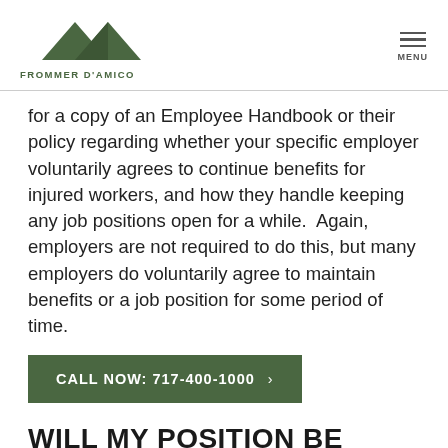FROMMER D'AMICO
for a copy of an Employee Handbook or their policy regarding whether your specific employer voluntarily agrees to continue benefits for injured workers, and how they handle keeping any job positions open for a while.  Again, employers are not required to do this, but many employers do voluntarily agree to maintain benefits or a job position for some period of time.
CALL NOW: 717-400-1000
WILL MY POSITION BE HELD FOR ME WHILE I AM HEALING FROM A WORK